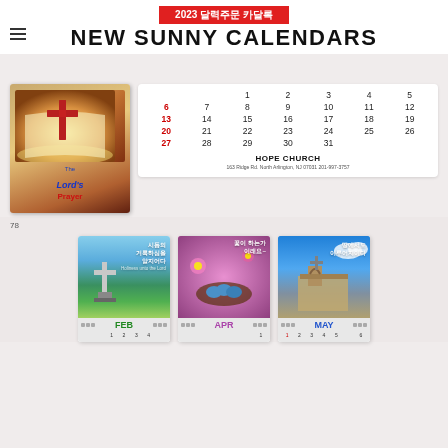2023 달력주문 카달록
NEW SUNNY CALENDARS
[Figure (illustration): Calendar cover image showing The Lord's Prayer with a cross on an open Bible background]
[Figure (table-as-image): Monthly calendar grid showing dates 1-31 with Sundays in red (6, 13, 20, 27), with HOPE CHURCH name and address at bottom]
78
[Figure (illustration): Three Korean calendar thumbnails showing FEB, APR, and MAY months with scenic religious imagery and Korean text]